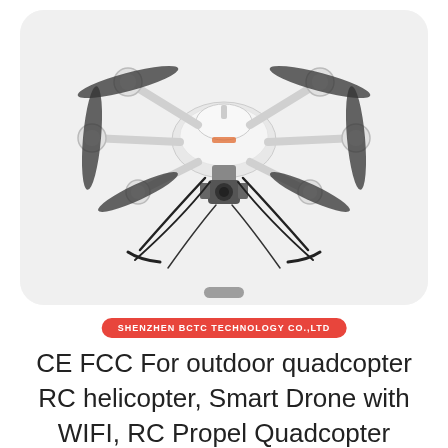[Figure (photo): A white hexacopter/multirotor drone with black propellers, camera gimbal mounted underneath, and landing gear legs. Photographed from the front against a light gray rounded-rectangle background resembling a tablet/device frame. A gray scroll indicator pill is at the bottom of the frame.]
SHENZHEN BCTC TECHNOLOGY CO.,LTD
CE FCC For outdoor quadcopter RC helicopter, Smart Drone with WIFI, RC Propel Quadcopter